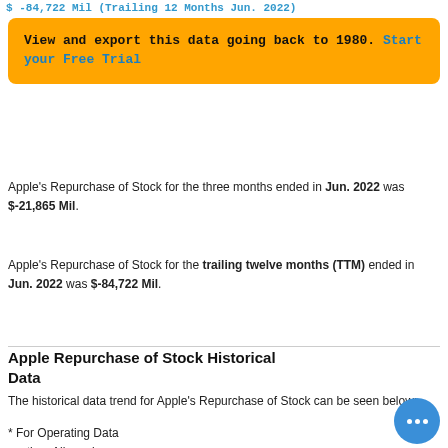$ -84,722 Mil (Trailing 12 Months Jun. 2022)
View and export this data going back to 1980. Start your Free Trial
Apple's Repurchase of Stock for the three months ended in Jun. 2022 was $-21,865 Mil.
Apple's Repurchase of Stock for the trailing twelve months (TTM) ended in Jun. 2022 was $-84,722 Mil.
Apple Repurchase of Stock Historical Data
The historical data trend for Apple's Repurchase of Stock can be seen below:
* For Operating Data section: All numbers are indicated by the unit behind each term and all currency related amount are in USD.